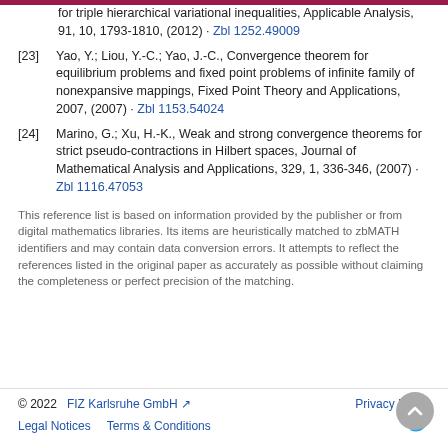[23] Yao, Y.; Liou, Y.-C.; Yao, J.-C., Convergence theorem for equilibrium problems and fixed point problems of infinite family of nonexpansive mappings, Fixed Point Theory and Applications, 2007, (2007) · Zbl 1153.54024
[24] Marino, G.; Xu, H.-K., Weak and strong convergence theorems for strict pseudo-contractions in Hilbert spaces, Journal of Mathematical Analysis and Applications, 329, 1, 336-346, (2007) · Zbl 1116.47053
This reference list is based on information provided by the publisher or from digital mathematics libraries. Its items are heuristically matched to zbMATH identifiers and may contain data conversion errors. It attempts to reflect the references listed in the original paper as accurately as possible without claiming the completeness or perfect precision of the matching.
© 2022  FIZ Karlsruhe GmbH  Privacy Policy  Legal Notices  Terms & Conditions